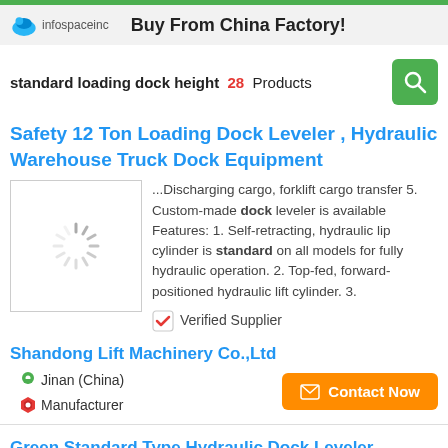Buy From China Factory!
standard loading dock height  28  Products
Safety 12 Ton Loading Dock Leveler , Hydraulic Warehouse Truck Dock Equipment
...Discharging cargo, forklift cargo transfer 5. Custom-made dock leveler is available Features: 1. Self-retracting, hydraulic lip cylinder is standard on all models for fully hydraulic operation. 2. Top-fed, forward-positioned hydraulic lift cylinder. 3.
✅ Verified Supplier
Shandong Lift Machinery Co.,Ltd
📍 Jinan (China)
Manufacturer
Contact Now
Green Standard Type Hydraulic Dock Leveler , Loading